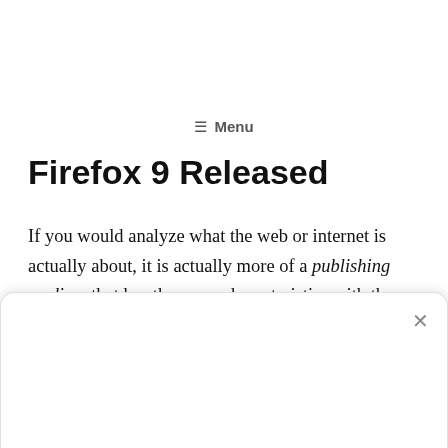☰ Menu
Firefox 9 Released
If you would analyze what the web or internet is actually about, it is actually more of a publishing medium that has the same characteristics with the conventional publishing